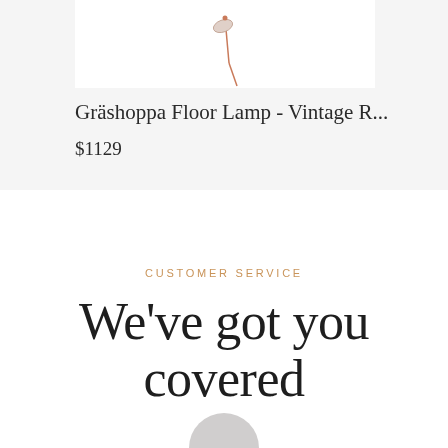[Figure (photo): Product image of a Gräshoppa floor lamp on white background, partially visible at top]
Gräshoppa Floor Lamp - Vintage R...
$1129
CUSTOMER SERVICE
We've got you covered
[Figure (illustration): Circular grey avatar/profile image cropped at bottom of page]